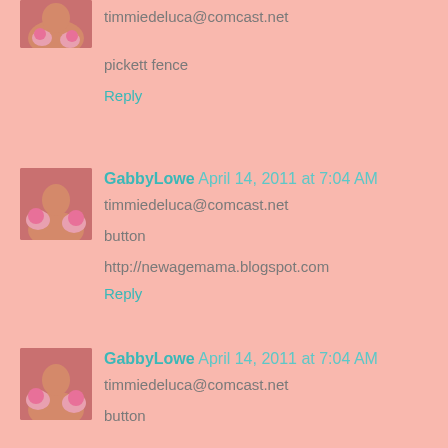[Figure (photo): Avatar photo of a woman with pink flowers, partially visible at top]
timmiedeluca@comcast.net
pickett fence
Reply
[Figure (photo): Avatar photo of GabbyLowe, woman with pink flowers]
GabbyLowe April 14, 2011 at 7:04 AM
timmiedeluca@comcast.net
button
http://newagemama.blogspot.com
Reply
[Figure (photo): Avatar photo of GabbyLowe, woman with pink flowers]
GabbyLowe April 14, 2011 at 7:04 AM
timmiedeluca@comcast.net
button